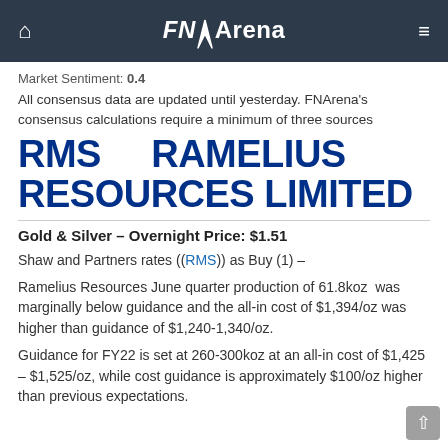FNArena
Market Sentiment: 0.4
All consensus data are updated until yesterday. FNArena's consensus calculations require a minimum of three sources
RMS    RAMELIUS RESOURCES LIMITED
Gold & Silver – Overnight Price: $1.51
Shaw and Partners rates ((RMS)) as Buy (1) –
Ramelius Resources June quarter production of 61.8koz  was marginally below guidance and the all-in cost of $1,394/oz was higher than guidance of $1,240-1,340/oz.
Guidance for FY22 is set at 260-300koz at an all-in cost of $1,425 – $1,525/oz, while cost guidance is approximately $100/oz higher than previous expectations.